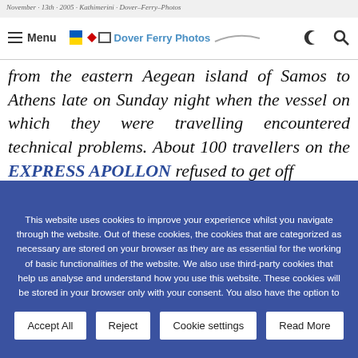November 13th 2005 - Kathimerini - Dover-Ferry-Photos | Menu | Dover Ferry Photos
from the eastern Aegean island of Samos to Athens late on Sunday night when the vessel on which they were travelling encountered technical problems. About 100 travellers on the EXPRESS APOLLON refused to get off
This website uses cookies to improve your experience whilst you navigate through the website. Out of these cookies, the cookies that are categorized as necessary are stored on your browser as they are as essential for the working of basic functionalities of the website. We also use third-party cookies that help us analyse and understand how you use this website. These cookies will be stored in your browser only with your consent. You also have the option to opt-out of these cookies. But opting out of some of these cookies may have an effect on your browsing experience.
Accept All
Reject
Cookie settings
Read More